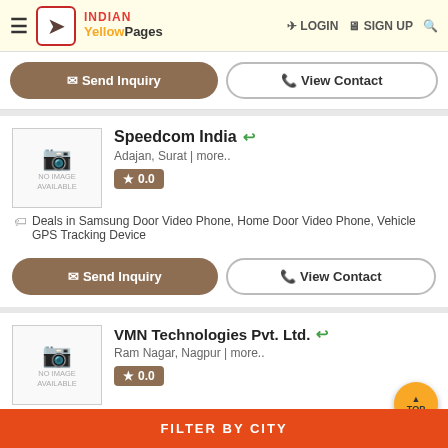INDIAN Yellow Pages | LOGIN | SIGN UP
Send Inquiry | View Contact
Speedcom India
Adajan, Surat | more..
0.0
Deals in Samsung Door Video Phone, Home Door Video Phone, Vehicle GPS Tracking Device
Send Inquiry | View Contact
VMN Technologies Pvt. Ltd.
Ram Nagar, Nagpur | more..
0.0
Deals in Samsung Mobile Phones, iBall Tablets, external dvd
FILTER BY CITY